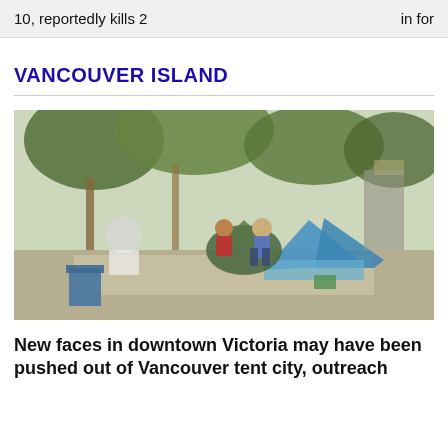10, reportedly kills 2 ... in for
VANCOUVER ISLAND
[Figure (photo): Outdoor street scene showing a tent city with people, tents, and belongings on a sidewalk surrounded by trees and urban infrastructure.]
New faces in downtown Victoria may have been pushed out of Vancouver tent city, outreach